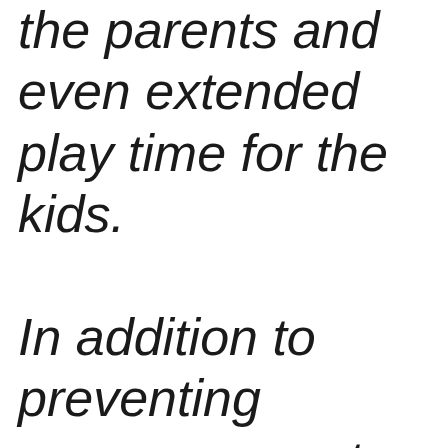the parents and even extended play time for the kids.

In addition to preventing overexposure to the sun which can lead to skin cancer, RCP's specialty